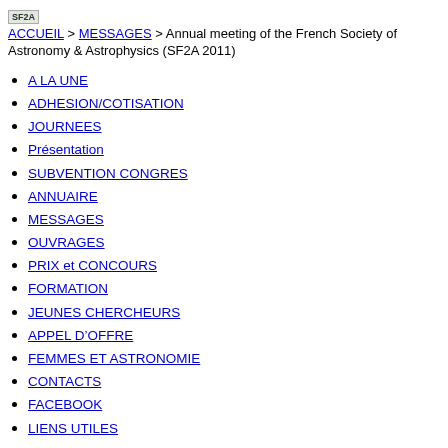SF2A | ACCUEIL > MESSAGES > Annual meeting of the French Society of Astronomy & Astrophysics (SF2A 2011)
A LA UNE
ADHESION/COTISATION
JOURNEES
Présentation
SUBVENTION CONGRES
ANNUAIRE
MESSAGES
OUVRAGES
PRIX et CONCOURS
FORMATION
JEUNES CHERCHEURS
APPEL D'OFFRE
FEMMES ET ASTRONOMIE
CONTACTS
FACEBOOK
LIENS UTILES
Annual meeting of the French Society of Astronomy &